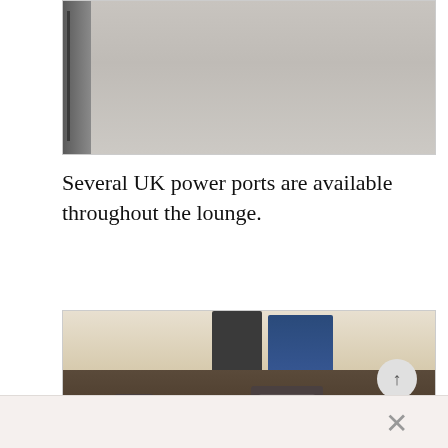[Figure (photo): Top portion of a photo showing a room interior, partially cropped, with a metal rack or bar visible on the left side and a light-colored wall in the background.]
Several UK power ports are available throughout the lounge.
[Figure (photo): Close-up photo of a wooden partition or bar counter with UK power sockets (BS1363 type) mounted on it. Two sockets are visible: a smaller one on the left and a larger square plate with a standard UK 3-pin socket on the right. In the background, monitor screens and lounge furniture are visible.]
[Figure (photo): Bottom portion of another photo showing a light-colored surface, partially visible.]